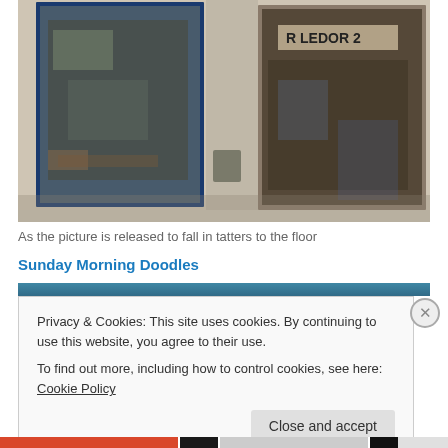[Figure (photo): Photograph of weathered building facade with two large worn doors covered in peeling posters and paint, blue door frame on left, crumbling plaster walls]
As the picture is released to fall in tatters to the floor
Sunday Morning Doodles
[Figure (photo): Partial second image strip visible at top of cookie overlay area]
Privacy & Cookies: This site uses cookies. By continuing to use this website, you agree to their use.
To find out more, including how to control cookies, see here: Cookie Policy
Close and accept